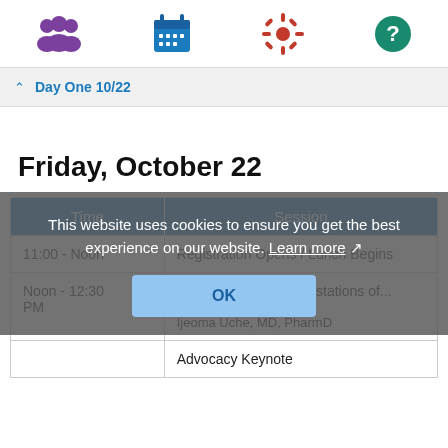Nav icons: people, calendar, settings, help
Day One 10/22
Friday, October 22
| Time | Session |
| --- | --- |
| 11:00 - Noon | Registration Opens / Lunch Begins |
| Noon - 12:30 PM | Cardiovascular Manifestations of...
FACP
Ijeoma Uche, MD, PharmD |
|  | Advocacy Keynote |
This website uses cookies to ensure you get the best experience on our website. Learn more
OK